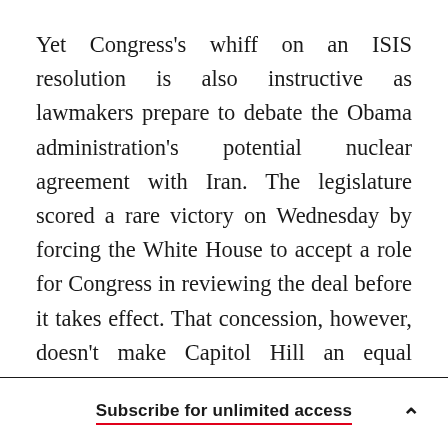Yet Congress's whiff on an ISIS resolution is also instructive as lawmakers prepare to debate the Obama administration's potential nuclear agreement with Iran. The legislature scored a rare victory on Wednesday by forcing the White House to accept a role for Congress in reviewing the deal before it takes effect. That concession, however, doesn't make Capitol Hill an equal partner, as the only way a deal could be scuttled is for opponents to garner a two-thirds majority reject it. And as we've learned in recent years, just because Congress demands a voice in foreign affairs doesn't mean it
Subscribe for unlimited access